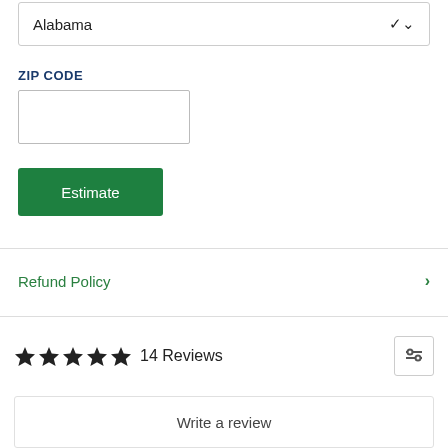Alabama
ZIP CODE
Estimate
Refund Policy
14 Reviews
Write a review